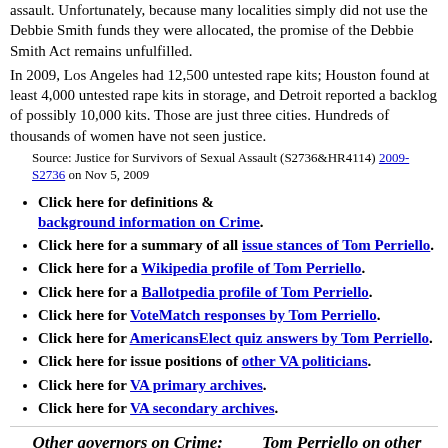assault. Unfortunately, because many localities simply did not use the Debbie Smith funds they were allocated, the promise of the Debbie Smith Act remains unfulfilled.
In 2009, Los Angeles had 12,500 untested rape kits; Houston found at least 4,000 untested rape kits in storage, and Detroit reported a backlog of possibly 10,000 kits. Those are just three cities. Hundreds of thousands of women have not seen justice.
Source: Justice for Survivors of Sexual Assault (S2736&HR4114) 2009-S2736 on Nov 5, 2009
Click here for definitions & background information on Crime.
Click here for a summary of all issue stances of Tom Perriello.
Click here for a Wikipedia profile of Tom Perriello.
Click here for a Ballotpedia profile of Tom Perriello.
Click here for VoteMatch responses by Tom Perriello.
Click here for AmericansElect quiz answers by Tom Perriello.
Click here for issue positions of other VA politicians.
Click here for VA primary archives.
Click here for VA secondary archives.
Other governors on Crime:
Tom Perriello on other issues:
VA Gubernatorial: Bob McDonnell
Newly-elected
Abortion Budget/Economy